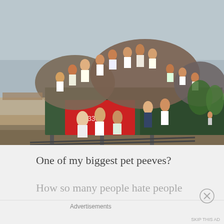[Figure (photo): Photograph of an extremely overcrowded train in Bangladesh with hundreds of people sitting and standing on top of the train cars and hanging off the sides, moving along a rural track.]
One of my biggest pet peeves?
How so many people hate people
Advertisements